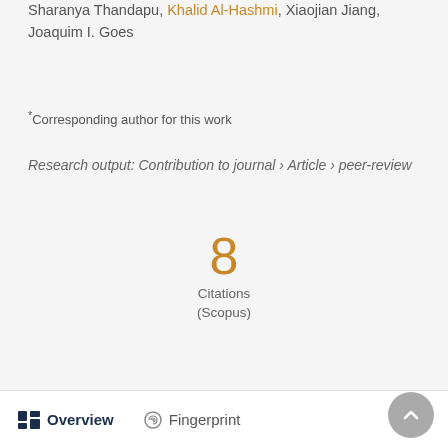Sharanya Thandapu, Khalid Al-Hashmi, Xiaojian Jiang, Joaquim I. Goes
*Corresponding author for this work
Research output: Contribution to journal › Article › peer-review
8
Citations
(Scopus)
Overview   Fingerprint